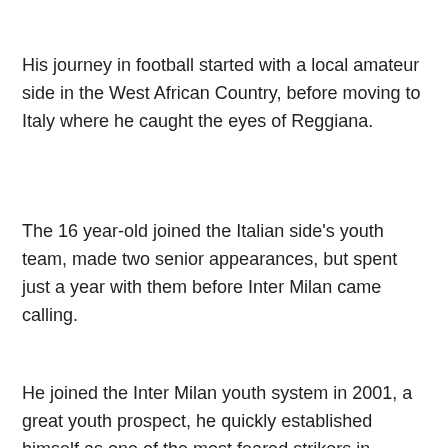His journey in football started with a local amateur side in the West African Country, before moving to Italy where he caught the eyes of Reggiana.
The 16 year-old joined the Italian side's youth team, made two senior appearances, but spent just a year with them before Inter Milan came calling.
He joined the Inter Milan youth system in 2001, a great youth prospect, he quickly established himself as one of the most feared strikers in football.